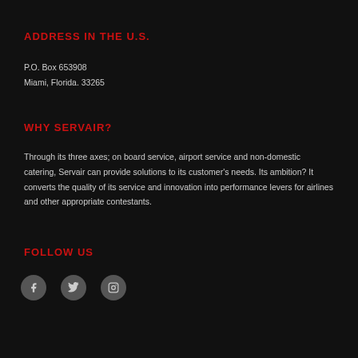ADDRESS IN THE U.S.
P.O. Box 653908
Miami, Florida. 33265
WHY SERVAIR?
Through its three axes; on board service, airport service and non-domestic catering, Servair can provide solutions to its customer's needs. Its ambition? It converts the quality of its service and innovation into performance levers for airlines and other appropriate contestants.
FOLLOW US
[Figure (illustration): Three social media icons: Facebook, Twitter, Instagram]